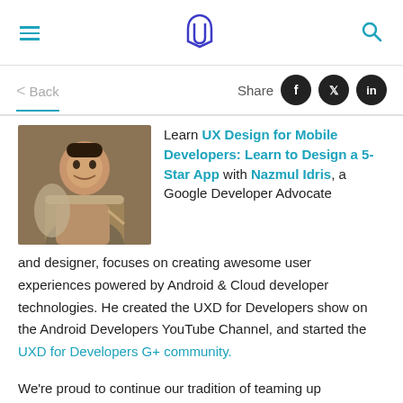Udacity header with hamburger menu, logo, and search icon
< Back | Share
[Figure (photo): Photo of Nazmul Idris, a man smiling and talking, wearing a light brown sweater]
Learn UX Design for Mobile Developers: Learn to Design a 5-Star App with Nazmul Idris, a Google Developer Advocate and designer, focuses on creating awesome user experiences powered by Android & Cloud developer technologies. He created the UXD for Developers show on the Android Developers YouTube Channel, and started the UXD for Developers G+ community.
We're proud to continue our tradition of teaming up